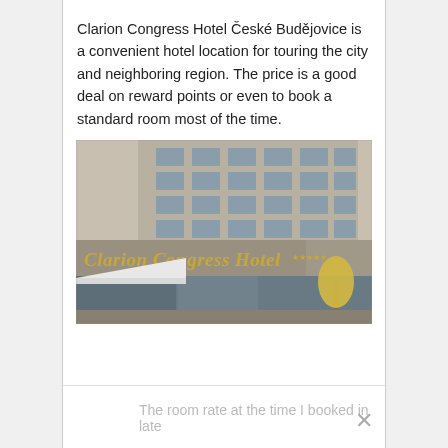Clarion Congress Hotel České Budějovice is a convenient hotel location for touring the city and neighboring region. The price is a good deal on reward points or even to book a standard room most of the time.
[Figure (photo): Exterior photograph of the Clarion Congress Hotel České Budějovice, showing the hotel building facade with the golden 'Clarion Congress Hotel' signage, a white canopy entrance, and a yellow umbrella visible on the right side.]
The room rate at the time I booked in late